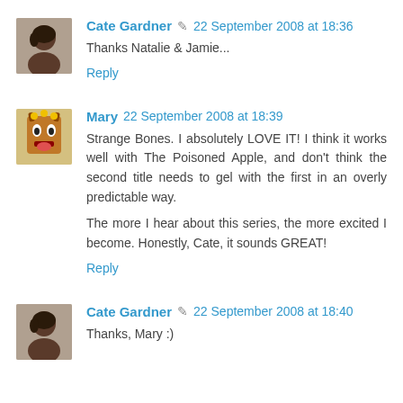Cate Gardner 🖉 22 September 2008 at 18:36
Thanks Natalie & Jamie...
Reply
Mary 22 September 2008 at 18:39
Strange Bones. I absolutely LOVE IT! I think it works well with The Poisoned Apple, and don't think the second title needs to gel with the first in an overly predictable way.
The more I hear about this series, the more excited I become. Honestly, Cate, it sounds GREAT!
Reply
Cate Gardner 🖉 22 September 2008 at 18:40
Thanks, Mary :)